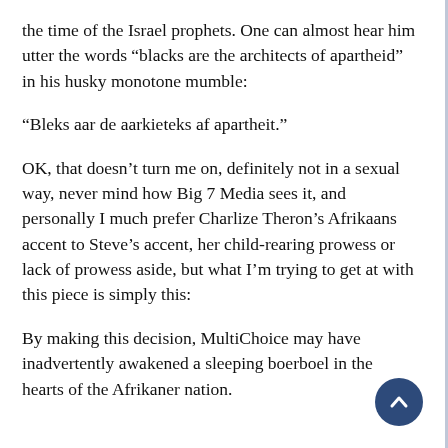the time of the Israel prophets. One can almost hear him utter the words “blacks are the architects of apartheid” in his husky monotone mumble:
“Bleks aar de aarkieteks af apartheit.”
OK, that doesn’t turn me on, definitely not in a sexual way, never mind how Big 7 Media sees it, and personally I much prefer Charlize Theron’s Afrikaans accent to Steve’s accent, her child-rearing prowess or lack of prowess aside, but what I’m trying to get at with this piece is simply this:
By making this decision, MultiChoice may have inadvertently awakened a sleeping boerboel in the hearts of the Afrikaner nation.